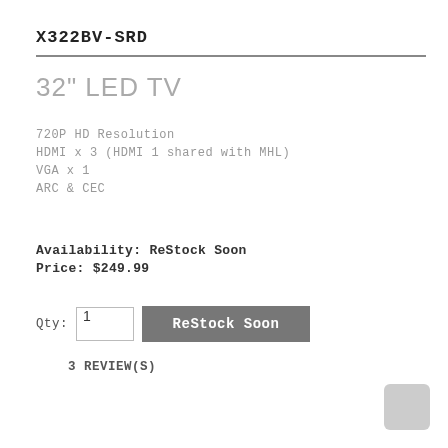X322BV-SRD
32" LED TV
720P HD Resolution
HDMI x 3 (HDMI 1 shared with MHL)
VGA x 1
ARC & CEC
Availability: ReStock Soon
Price: $249.99
Qty: 1  ReStock Soon
3 REVIEW(S)